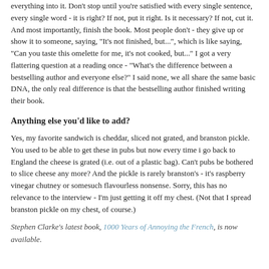everything into it. Don't stop until you're satisfied with every single sentence, every single word - it is right? If not, put it right. Is it necessary? If not, cut it. And most importantly, finish the book. Most people don't - they give up or show it to someone, saying, "It's not finished, but...", which is like saying, "Can you taste this omelette for me, it's not cooked, but..." I got a very flattering question at a reading once - "What's the difference between a bestselling author and everyone else?" I said none, we all share the same basic DNA, the only real difference is that the bestselling author finished writing their book.
Anything else you'd like to add?
Yes, my favorite sandwich is cheddar, sliced not grated, and branston pickle. You used to be able to get these in pubs but now every time i go back to England the cheese is grated (i.e. out of a plastic bag). Can't pubs be bothered to slice cheese any more? And the pickle is rarely branston's - it's raspberry vinegar chutney or somesuch flavourless nonsense. Sorry, this has no relevance to the interview - I'm just getting it off my chest. (Not that I spread branston pickle on my chest, of course.)
Stephen Clarke's latest book, 1000 Years of Annoying the French, is now available.